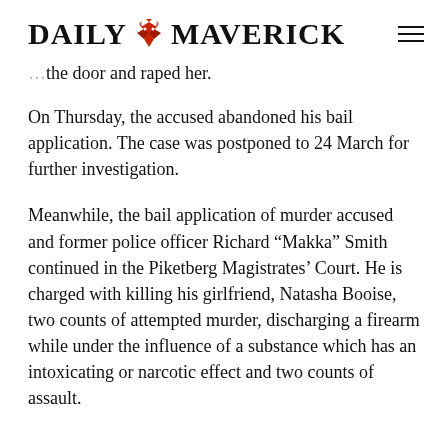DAILY MAVERICK
the door and raped her.
On Thursday, the accused abandoned his bail application. The case was postponed to 24 March for further investigation.
Meanwhile, the bail application of murder accused and former police officer Richard “Makka” Smith continued in the Piketberg Magistrates’ Court. He is charged with killing his girlfriend, Natasha Booise, two counts of attempted murder, discharging a firearm while under the influence of a substance which has an intoxicating or narcotic effect and two counts of assault.